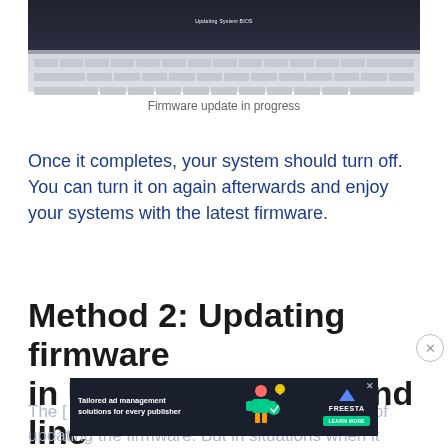[Figure (photo): Laptop with white keyboard showing a firmware update progress screen (Updating System BIOS), photographed from above at an angle.]
Firmware update in progress
Once it completes, your system should turn off. You can turn it on again afterwards and enjoy your systems with the latest firmware.
Method 2: Updating firmware in Ubuntu via command line
The [text obscured by ad] of updating the firmware. But in situations when it